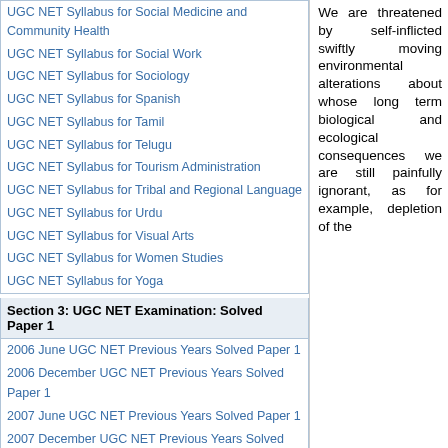UGC NET Syllabus for Social Medicine and Community Health
UGC NET Syllabus for Social Work
UGC NET Syllabus for Sociology
UGC NET Syllabus for Spanish
UGC NET Syllabus for Tamil
UGC NET Syllabus for Telugu
UGC NET Syllabus for Tourism Administration
UGC NET Syllabus for Tribal and Regional Language
UGC NET Syllabus for Urdu
UGC NET Syllabus for Visual Arts
UGC NET Syllabus for Women Studies
UGC NET Syllabus for Yoga
Section 3: UGC NET Examination: Solved Paper 1
2006 June UGC NET Previous Years Solved Paper 1
2006 December UGC NET Previous Years Solved Paper 1
2007 June UGC NET Previous Years Solved Paper 1
2007 December UGC NET Previous Years Solved Paper 1
2008 June UGC NET Previous Years Solved Paper 1
2008 December UGC NET Previous Years Solved Paper 1
2009 June UGC NET Previous Years Solved Paper 1
2009 December UGC NET Previous Years Solved Paper 1
2010 June UGC NET Previous Years Solved Paper 1
2010 December UGC NET Previous Years Solved Paper 1
We are threatened by self-inflicted swiftly moving environmental alterations about whose long term biological and ecological consequences we are still painfully ignorant, as for example, depletion of the